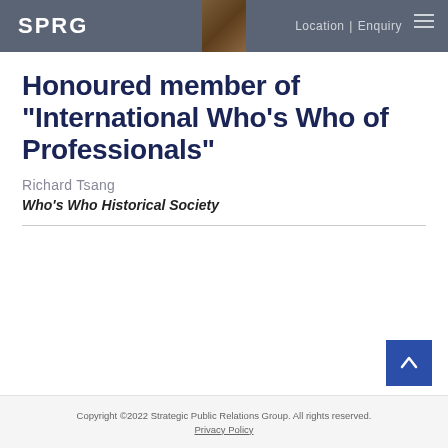SPRG  Location | Enquiry
Honoured member of "International Who's Who of Professionals"
Richard Tsang
Who's Who Historical Society
Copyright ©2022 Strategic Public Relations Group. All rights reserved. Privacy Policy